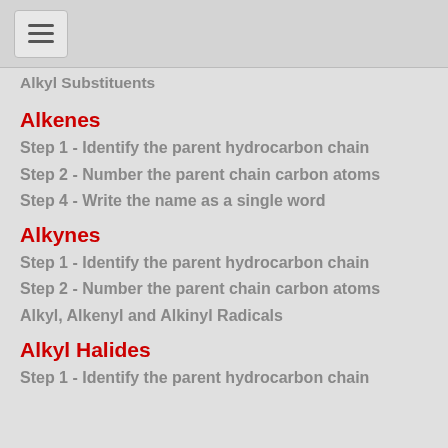Alkyl Substituents
Alkenes
Step 1 - Identify the parent hydrocarbon chain
Step 2 - Number the parent chain carbon atoms
Step 4 - Write the name as a single word
Alkynes
Step 1 - Identify the parent hydrocarbon chain
Step 2 - Number the parent chain carbon atoms
Alkyl, Alkenyl and Alkinyl Radicals
Alkyl Halides
Step 1 - Identify the parent hydrocarbon chain